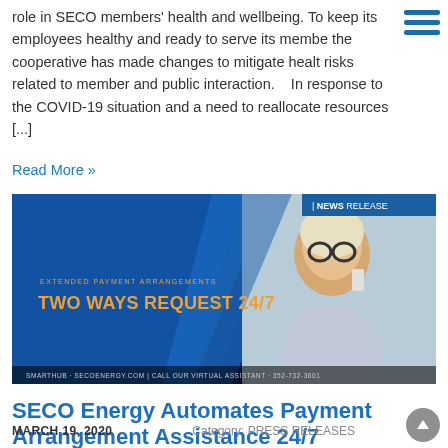role in SECO members' health and wellbeing. To keep its employees healthy and ready to serve its members, the cooperative has made changes to mitigate health risks related to member and public interaction.   In response to the COVID-19 situation and a need to reallocate resources [...]
Read More »
[Figure (photo): News Release banner image with text 'EXTENDED PAYMENT ARRANGEMENTS: TWO WAYS REQUEST 24/7' and a woman talking on phone. SMARTHUB · SECOENERGY.COM | CALL OUR VIRTUAL ASSISTANT · 352-732-3601]
SECO Energy Automates Payment Arrangement Assistance 24/7
MARCH 19, 2020
Category: PRESS RELEASES